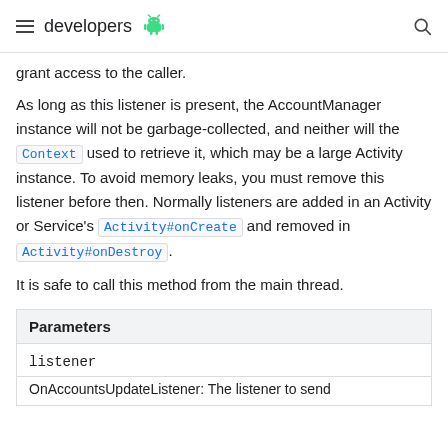developers
grant access to the caller.
As long as this listener is present, the AccountManager instance will not be garbage-collected, and neither will the Context used to retrieve it, which may be a large Activity instance. To avoid memory leaks, you must remove this listener before then. Normally listeners are added in an Activity or Service's Activity#onCreate and removed in Activity#onDestroy.
It is safe to call this method from the main thread.
| Parameters |
| --- |
| listener |
| OnAccountsUpdateListener: The listener to send |
OnAccountsUpdateListener: The listener to send